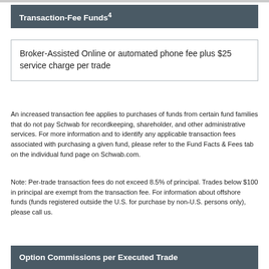Transaction-Fee Funds4
| Broker-Assisted Online or automated phone fee plus $25 service charge per trade |
An increased transaction fee applies to purchases of funds from certain fund families that do not pay Schwab for recordkeeping, shareholder, and other administrative services. For more information and to identify any applicable transaction fees associated with purchasing a given fund, please refer to the Fund Facts & Fees tab on the individual fund page on Schwab.com.
Note: Per-trade transaction fees do not exceed 8.5% of principal. Trades below $100 in principal are exempt from the transaction fee. For information about offshore funds (funds registered outside the U.S. for purchase by non-U.S. persons only), please call us.
Option Commissions per Executed Trade